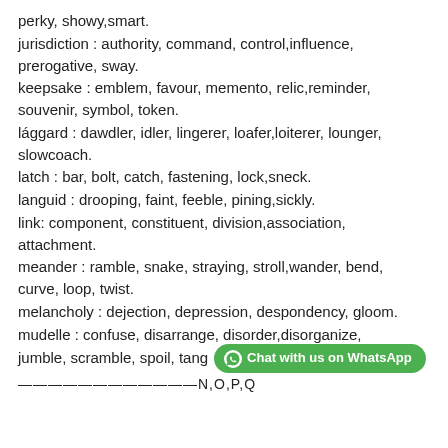perky, showy,smart.
jurisdiction : authority, command, control,influence, prerogative, sway.
keepsake : emblem, favour, memento, relic,reminder, souvenir, symbol, token.
lággard : dawdler, idler, lingerer, loafer,loiterer, lounger, slowcoach.
latch : bar, bolt, catch, fastening, lock,sneck.
languid : drooping, faint, feeble, pining,sickly.
link: component, constituent, division,association, attachment.
meander : ramble, snake, straying, stroll,wander, bend, curve, loop, twist.
melancholy : dejection, depression, despondency, gloom.
mudelle : confuse, disarrange, disorder,disorganize, jumble, scramble, spoil, tang [Chat with us on WhatsApp]
————————————N,O,P,Q